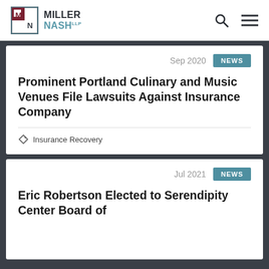Miller Nash LLP
Sep 2020 NEWS
Prominent Portland Culinary and Music Venues File Lawsuits Against Insurance Company
Insurance Recovery
Jul 2021 NEWS
Eric Robertson Elected to Serendipity Center Board of